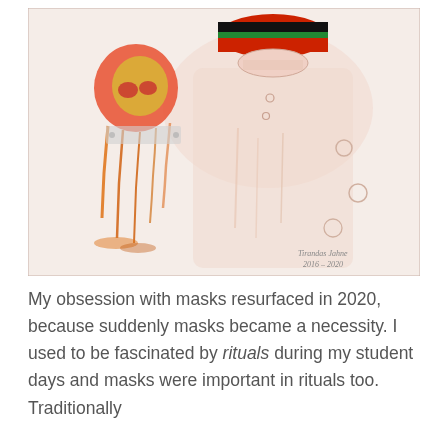[Figure (illustration): Watercolor painting of a figure wearing a multicolored mask (red, black, green stripe at top) with a smaller dripping face figure to the left on a white coat/garment background. Colors are reds, oranges, yellows with dripping paint effects. Artist signature reads 'Tirandas Jahne 2016-2020' in lower right.]
My obsession with masks resurfaced in 2020, because suddenly masks became a necessity. I used to be fascinated by rituals during my student days and masks were important in rituals too. Traditionally